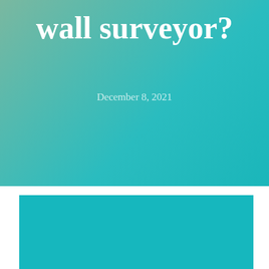wall surveyor?
December 8, 2021
[Figure (other): Large teal/turquoise colored rectangle block occupying the lower portion of the page.]